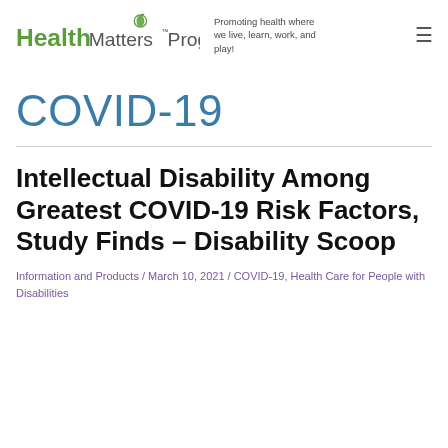HealthMatters™ Program — Promoting health where we live, learn, work, and play!
COVID-19
Intellectual Disability Among Greatest COVID-19 Risk Factors, Study Finds – Disability Scoop
Information and Products / March 10, 2021 / COVID-19, Health Care for People with Disabilities